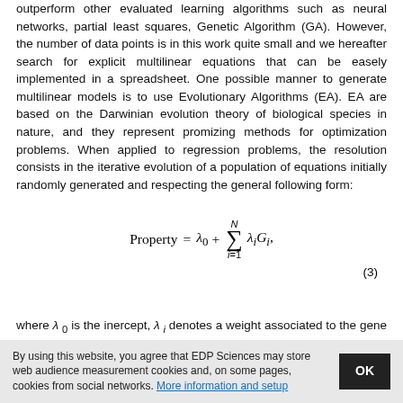outperform other evaluated learning algorithms such as neural networks, partial least squares, Genetic Algorithm (GA). However, the number of data points is in this work quite small and we hereafter search for explicit multilinear equations that can be easely implemented in a spreadsheet. One possible manner to generate multilinear models is to use Evolutionary Algorithms (EA). EA are based on the Darwinian evolution theory of biological species in nature, and they represent promizing methods for optimization problems. When applied to regression problems, the resolution consists in the iterative evolution of a population of equations initially randomly generated and respecting the general following form:
(3)
where λ₀ is the inercept, λᵢ denotes a weight associated to the gene i (Gᵢ), and N is the total number of genes in the model. To derive models, two approaches were tested varying from the level of information in genes.
In the first approach, a gene (see the proposed schematic representation
By using this website, you agree that EDP Sciences may store web audience measurement cookies and, on some pages, cookies from social networks. More information and setup